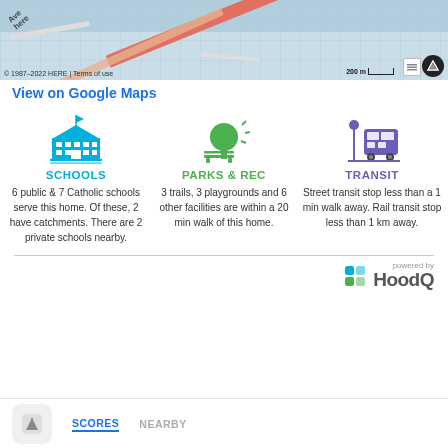[Figure (map): Street map showing roads and waterway, with scale bar showing 200 m, copyright 1987-2022 HERE, Terms of use, and map layer controls]
View on Google Maps
[Figure (infographic): Three-column infographic with icons and text for Schools, Parks & Rec, and Transit]
SCHOOLS
6 public & 7 Catholic schools serve this home. Of these, 2 have catchments. There are 2 private schools nearby.
PARKS & REC
3 trails, 3 playgrounds and 6 other facilities are within a 20 min walk of this home.
TRANSIT
Street transit stop less than a 1 min walk away. Rail transit stop less than 1 km away.
[Figure (logo): HoodQ logo - powered by HoodQ]
SCORES
NEARBY